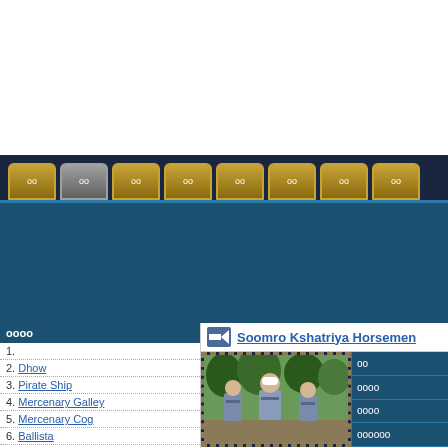[Figure (screenshot): Top white banner area of a game wiki website]
Navigation tabs: tab1, tab2 (active), tab3, tab4, tab5, tab6, tab7, tab8
[Figure (screenshot): Blue header strip with coin graphic on the right side]
1.
2. Dhow
3. Pirate Ship
4. Mercenary Galley
5. Mercenary Cog
6. Ballista
7. Catapult
8. Trebuchet
9. Royal Ghulam Lancers
Soomro Kshatriya Horsemen
[Figure (screenshot): Game unit screenshot showing horsemen warriors]
Unit info sidebar with rows